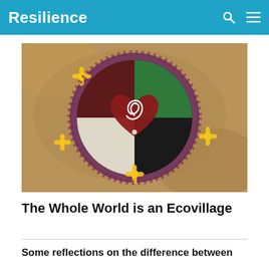Resilience
[Figure (photo): Colorful mandala-like artwork made from colored sand/powder and flowers on the ground, featuring a heart shape with a spiral in the center, surrounded by green, black, white, and red sections, with yellow flowers decorating the border.]
The Whole World is an Ecovillage
Some reflections on the difference between